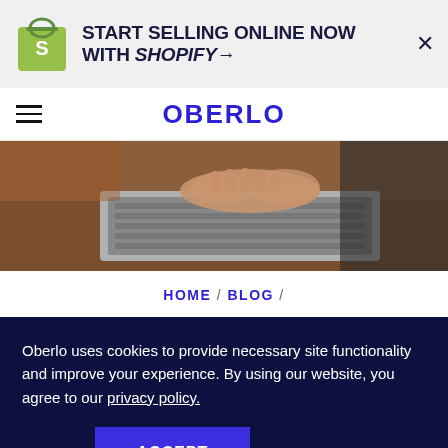[Figure (logo): Shopify ad banner with logo and text: START SELLING ONLINE NOW WITH SHOPIFY→]
OBERLO
[Figure (photo): Person typing on a laptop keyboard, close-up of hands]
HOME / BLOG /
Oberlo uses cookies to provide necessary site functionality and improve your experience. By using our website, you agree to our privacy policy.
Reject   ACCEPT